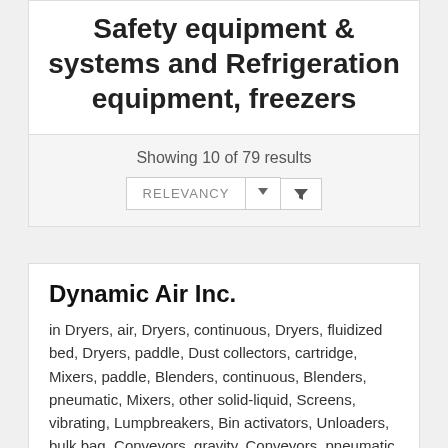Safety equipment & systems and Refrigeration equipment, freezers
Showing 10 of 79 results
RELEVANCY (dropdown with filter button)
Dynamic Air Inc.
in Dryers, air, Dryers, continuous, Dryers, fluidized bed, Dryers, paddle, Dust collectors, cartridge, Mixers, paddle, Blenders, continuous, Blenders, pneumatic, Mixers, other solid-liquid, Screens, vibrating, Lumpbreakers, Bin activators, Unloaders, bulk bag, Conveyors, gravity, Conveyors, pneumatic, Conveyors,